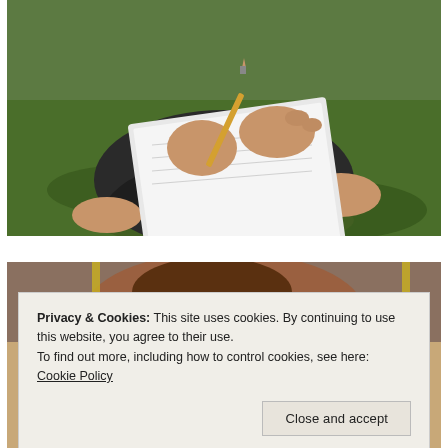[Figure (photo): A person sitting cross-legged on grass, writing in a notebook with a pencil. The person's hands and feet are visible, wearing dark pants, with green grass in the background.]
[Figure (photo): Partial view of a child or person working on an art or drawing activity, partially obscured by a cookie consent banner.]
Privacy & Cookies: This site uses cookies. By continuing to use this website, you agree to their use.
To find out more, including how to control cookies, see here: Cookie Policy
Close and accept